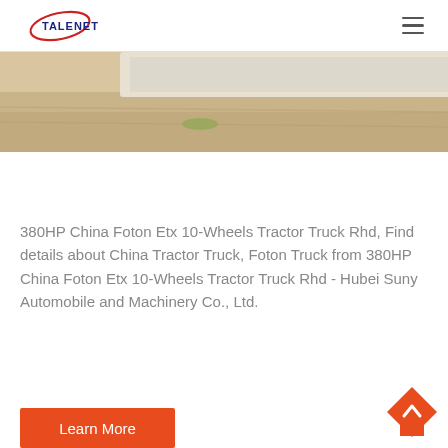TALENET
[Figure (photo): Partial view of a Foton tractor truck on sandy/dirt terrain, cropped showing the lower portion of the vehicle]
380HP China Foton Etx 10-Wheels Tractor Truck Rhd, Find details about China Tractor Truck, Foton Truck from 380HP China Foton Etx 10-Wheels Tractor Truck Rhd - Hubei Suny Automobile and Machinery Co., Ltd.
Learn More